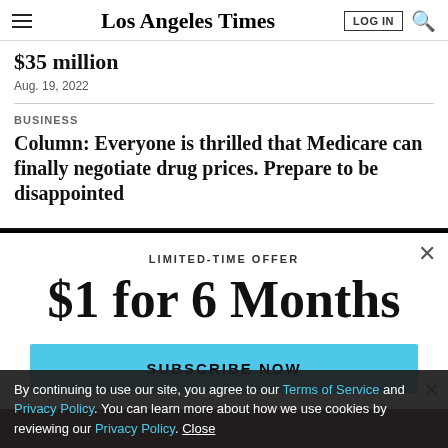Los Angeles Times
$35 million
Aug. 19, 2022
BUSINESS
Column: Everyone is thrilled that Medicare can finally negotiate drug prices. Prepare to be disappointed
LIMITED-TIME OFFER
$1 for 6 Months
SUBSCRIBE NOW
By continuing to use our site, you agree to our Terms of Service and Privacy Policy. You can learn more about how we use cookies by reviewing our Privacy Policy. Close